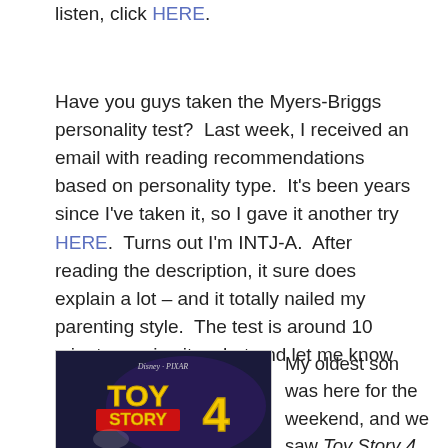listen, click HERE.
Have you guys taken the Myers-Briggs personality test?  Last week, I received an email with reading recommendations based on personality type.  It's been years since I've taken it, so I gave it another try HERE.  Turns out I'm INTJ-A.  After reading the description, it sure does explain a lot – and it totally nailed my parenting style.  The test is around 10 minutes – give it a shot and let me know your type.
[Figure (photo): Toy Story 4 movie poster showing Disney Pixar logo and the title 'TOY STORY 4' in yellow letters on a red background with the number 4]
My oldest son was here for the weekend, and we saw Toy Story 4.  When he was younger,